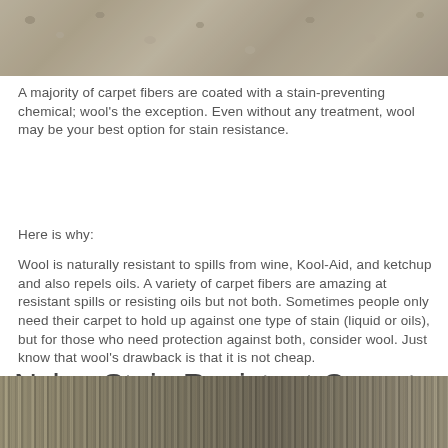[Figure (photo): Close-up photo of textured wool carpet fibers in beige/tan tones]
A majority of carpet fibers are coated with a stain-preventing chemical; wool’s the exception. Even without any treatment, wool may be your best option for stain resistance.
Here is why:
Wool is naturally resistant to spills from wine, Kool-Aid, and ketchup and also repels oils.  A variety of carpet fibers are amazing at resistant spills or resisting oils but not both. Sometimes people only need their carpet to hold up against one type of stain (liquid or oils), but for those who need protection against both, consider wool. Just know that wool’s drawback is that it is not cheap.
Nylon Stain Resistant Carpet
[Figure (photo): Close-up photo of nylon carpet fibers in dark brown and beige striped tones]